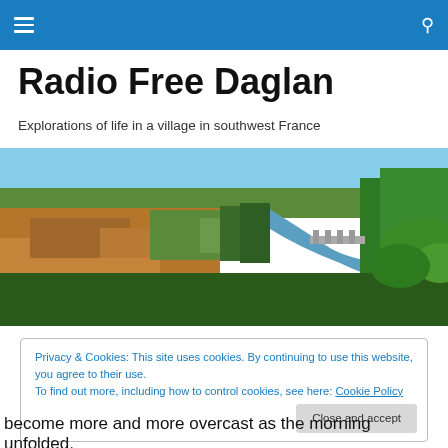Navigation bar with hamburger menu and search icon
Radio Free Daglan
Explorations of life in a village in southwest France
[Figure (photo): Aerial view of a French village with fields, river, bridge, and trees in the Dordogne region of southwest France]
Privacy & Cookies: This site uses cookies. By continuing to use this website, you agree to their use.
To find out more, including how to control cookies, see here: Cookie Policy
[Close and accept button]
become more and more overcast as the morning unfolded.